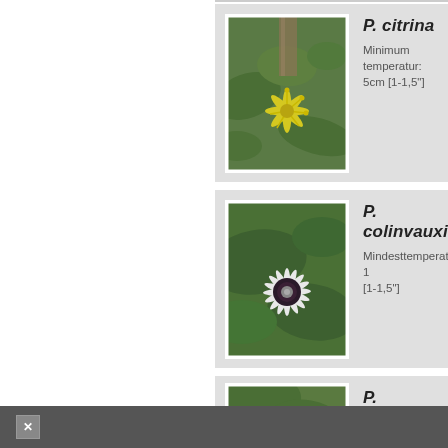[Figure (photo): Photo of P. citrina flower (yellow, star-shaped) with green leaves background]
P. citrina
Minimum temperatur: 5cm [1-1,5"]
[Figure (photo): Photo of P. colinvauxii flower (white petals, dark center) with green leaves]
P. colinvauxii
Mindesttemperatur: [1-1,5"]
[Figure (photo): Photo of P. conzattiana flower (small, yellow-brown) with broad green leaves]
P. conzattiana
Minimum temperatur: 3cm [0,5-1"]
×